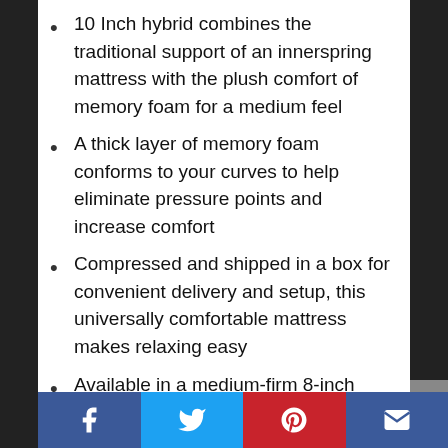10 Inch hybrid combines the traditional support of an innerspring mattress with the plush comfort of memory foam for a medium feel
A thick layer of memory foam conforms to your curves to help eliminate pressure points and increase comfort
Compressed and shipped in a box for convenient delivery and setup, this universally comfortable mattress makes relaxing easy
Available in a medium-firm 8-inch profile, a medium 10-inch profile, or a plush 12-inch profile that...